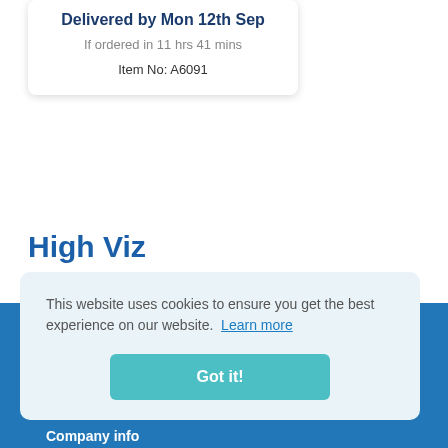Delivered by Mon 12th Sep
If ordered in 11 hrs 41 mins
Item No: A6091
High Viz
High Viz
The Hotline Group Ltd
This website uses cookies to ensure you get the best experience on our website. Learn more
Got it!
Company info